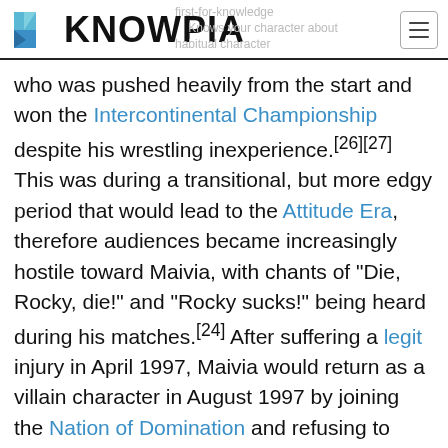KNOWPIA
who was pushed heavily from the start and won the Intercontinental Championship despite his wrestling inexperience.[26][27] This was during a transitional, but more edgy period that would lead to the Attitude Era, therefore audiences became increasingly hostile toward Maivia, with chants of "Die, Rocky, die!" and "Rocky sucks!" being heard during his matches.[24] After suffering a legit injury in April 1997, Maivia would return as a villain character in August 1997 by joining the Nation of Domination and refusing to acknowledge the Rocky Maivia name, instead referring to himself in the third person as The Rock, insulting the audience in his promos as well as WWF television interviewer. The Rock would eventually become the Nation's leader and draw good heat, then starting getting